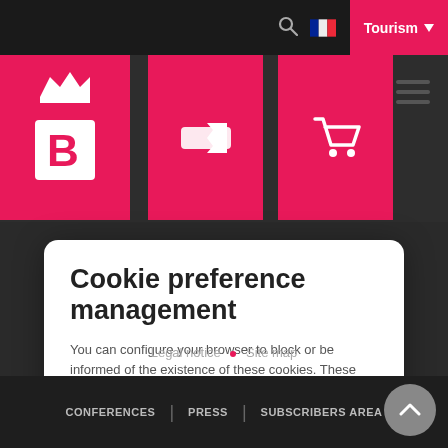[Figure (screenshot): Website navigation header with dark background, logo, pink icon buttons, search icon, French flag, Tourism button and hamburger menu]
Cookie preference management
You can configure your browser to block or be informed of the existence of these cookies. These cookies do not store any personally identifying information.
Read more
No thanks | I choose | Ok for me
Legal notice • Site map
CONFERENCES | PRESS | SUBSCRIBERS AREA